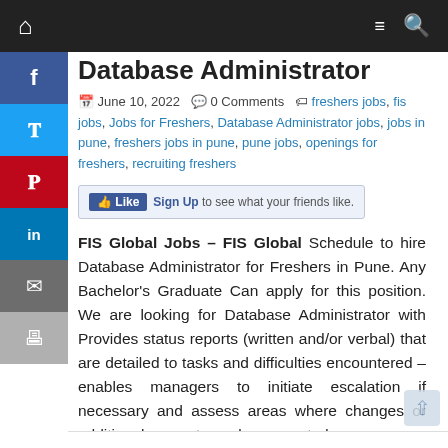Database Administrator
June 10, 2022   0 Comments   freshers jobs, fis jobs, Jobs for Freshers, Database Administrator jobs, jobs in pune, freshers jobs in pune, pune jobs, openings for freshers, recruiting freshers
[Figure (screenshot): Facebook Like bar with Sign Up link]
FIS Global Jobs – FIS Global Schedule to hire Database Administrator for Freshers in Pune. Any Bachelor's Graduate Can apply for this position. We are looking for Database Administrator with Provides status reports (written and/or verbal) that are detailed to tasks and difficulties encountered – enables managers to initiate escalation if necessary and assess areas where changes or additional support may be warranted.